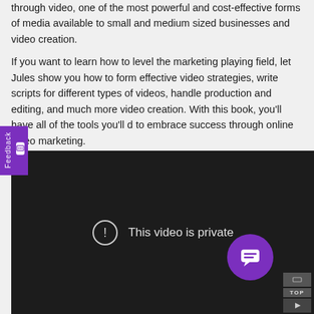through video, one of the most powerful and cost-effective forms of media available to small and medium sized businesses and video creation.
If you want to learn how to level the marketing playing field, let Jules show you how to form effective video strategies, write scripts for different types of videos, handle production and editing, and much more video creation. With this book, you’ll have all of the tools you’ll d to embrace success through online video marketing.
[Figure (screenshot): Dark video player showing 'This video is private' message with exclamation icon. Purple chat bubble icon and TOP button visible in lower right.]